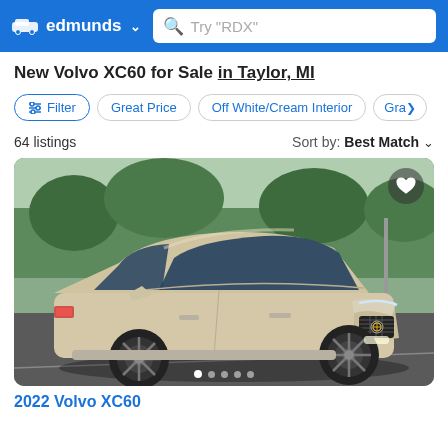edmunds (logo) | Search: Try "RDX"
New Volvo XC60 for Sale in Taylor, MI
Filter
Great Price
Off White/Cream Interior
Gra...
64 listings   Sort by: Best Match
[Figure (photo): Volvo XC60 SUV in champagne/beige color, front 3/4 view, parked on pavement with trees in background. Heart/favorite icon in top-right corner. Carousel dots at bottom.]
2022 Volvo XC60